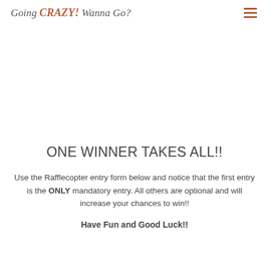Going CRAZY! Wanna Go?
ONE WINNER TAKES ALL!!
Use the Rafflecopter entry form below and notice that the first entry is the ONLY mandatory entry. All others are optional and will increase your chances to win!!
Have Fun and Good Luck!!